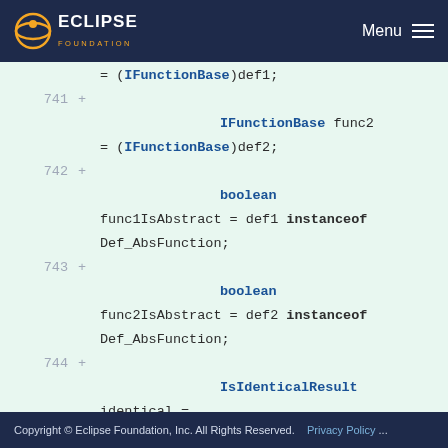ECLIPSE FOUNDATION  Menu
[Figure (screenshot): Eclipse IDE code diff viewer showing Java code lines 741-745 with added lines highlighted in green. Lines show IFunctionBase and boolean variable declarations, instanceof checks, and an IsIdenticalResult assignment with isIdentical method call and if statement.]
Copyright © Eclipse Foundation, Inc. All Rights Reserved.   Privacy Policy ...